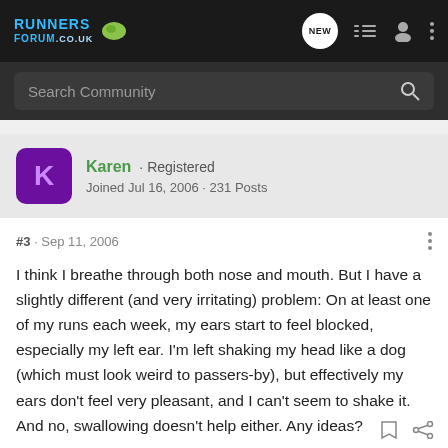RUNNERS FORUM .co.uk
Search Community
Karen · Registered
Joined Jul 16, 2006 · 231 Posts
#3 · Sep 11, 2006
I think I breathe through both nose and mouth. But I have a slightly different (and very irritating) problem: On at least one of my runs each week, my ears start to feel blocked, especially my left ear. I'm left shaking my head like a dog (which must look weird to passers-by), but effectively my ears don't feel very pleasant, and I can't seem to shake it. And no, swallowing doesn't help either. Any ideas?